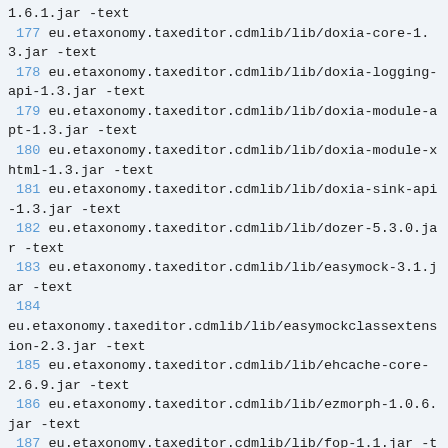1.6.1.jar -text
 177 eu.etaxonomy.taxeditor.cdmlib/lib/doxia-core-1.3.jar -text
 178 eu.etaxonomy.taxeditor.cdmlib/lib/doxia-logging-api-1.3.jar -text
 179 eu.etaxonomy.taxeditor.cdmlib/lib/doxia-module-apt-1.3.jar -text
 180 eu.etaxonomy.taxeditor.cdmlib/lib/doxia-module-xhtml-1.3.jar -text
 181 eu.etaxonomy.taxeditor.cdmlib/lib/doxia-sink-api-1.3.jar -text
 182 eu.etaxonomy.taxeditor.cdmlib/lib/dozer-5.3.0.jar -text
 183 eu.etaxonomy.taxeditor.cdmlib/lib/easymock-3.1.jar -text
 184 eu.etaxonomy.taxeditor.cdmlib/lib/easymockclassextension-2.3.jar -text
 185 eu.etaxonomy.taxeditor.cdmlib/lib/ehcache-core-2.6.9.jar -text
 186 eu.etaxonomy.taxeditor.cdmlib/lib/ezmorph-1.0.6.jar -text
 187 eu.etaxonomy.taxeditor.cdmlib/lib/fop-1.1.jar -text
 188 eu.etaxonomy.taxeditor.cdmlib/lib/fop-1.1.jar -text